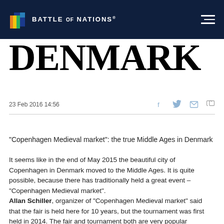Battle of the Nations
DENMARK
23 Feb 2016 14:56
"Copenhagen Medieval market": the true Middle Ages in Denmark
It seems like in the end of May 2015 the beautiful city of Copenhagen in Denmark moved to the Middle Ages. It is quite possible, because there has traditionally held a great event – "Copenhagen Medieval market".
Allan Schiller, organizer of "Copenhagen Medieval market" said that the fair is held here for 10 years, but the tournament was first held in 2014. The fair and tournament both are very popular